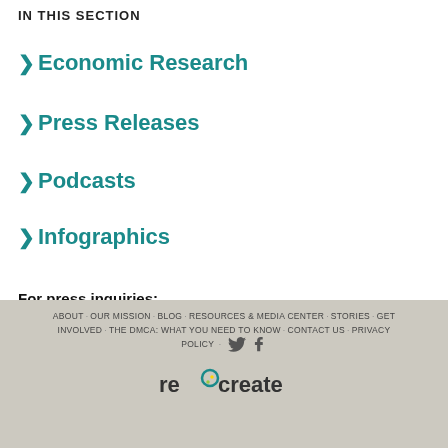IN THIS SECTION
Economic Research
Press Releases
Podcasts
Infographics
For press inquiries:
Email: press@recreatecoalition.com
ABOUT · OUR MISSION · BLOG · RESOURCES & MEDIA CENTER · STORIES · GET INVOLVED · THE DMCA: WHAT YOU NEED TO KNOW · CONTACT US · PRIVACY POLICY · [Twitter] [Facebook] recreate